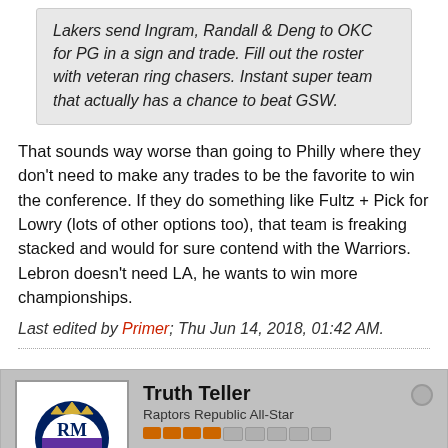Lakers send Ingram, Randall & Deng to OKC for PG in a sign and trade. Fill out the roster with veteran ring chasers. Instant super team that actually has a chance to beat GSW.
That sounds way worse than going to Philly where they don't need to make any trades to be the favorite to win the conference. If they do something like Fultz + Pick for Lowry (lots of other options too), that team is freaking stacked and would for sure contend with the Warriors. Lebron doesn't need LA, he wants to win more championships.
Last edited by Primer; Thu Jun 14, 2018, 01:42 AM.
Truth Teller
Raptors Republic All-Star
Join Date: Dec 2015   Posts: 2001
Thu Jun 14, 2018, 01:53 AM
#120